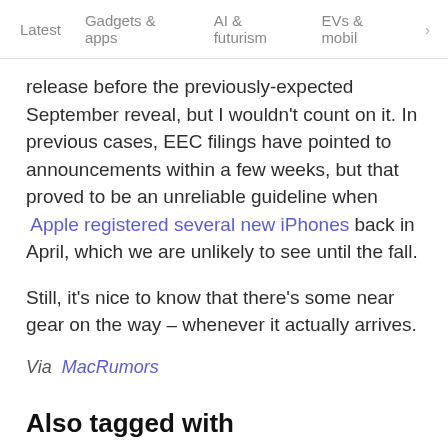Latest   Gadgets & apps   AI & futurism   EVs & mobil  >
release before the previously-expected September reveal, but I wouldn't count on it. In previous cases, EEC filings have pointed to announcements within a few weeks, but that proved to be an unreliable guideline when Apple registered several new iPhones back in April, which we are unlikely to see until the fall.
Still, it's nice to know that there's some near gear on the way – whenever it actually arrives.
Via MacRumors
Also tagged with